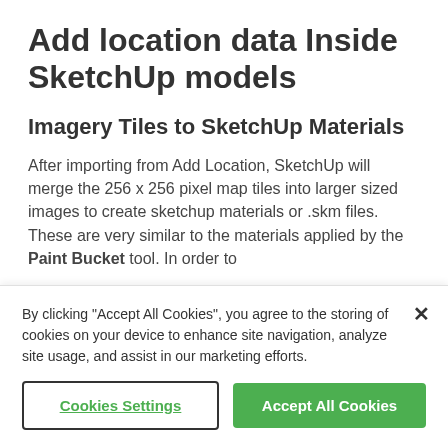Add location data Inside SketchUp models
Imagery Tiles to SketchUp Materials
After importing from Add Location, SketchUp will merge the 256 x 256 pixel map tiles into larger sized images to create sketchup materials or .skm files. These are very similar to the materials applied by the Paint Bucket tool. In order to
By clicking "Accept All Cookies", you agree to the storing of cookies on your device to enhance site navigation, analyze site usage, and assist in our marketing efforts.
Cookies Settings
Accept All Cookies